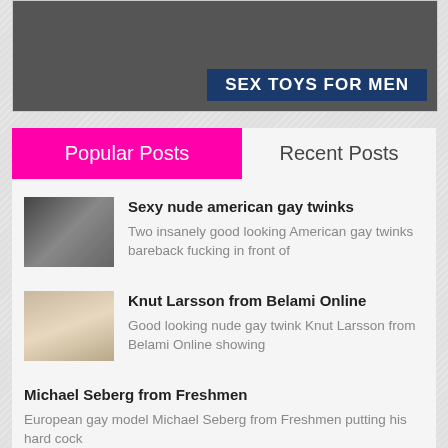[Figure (photo): Advertisement banner for sex toys for men, dark background with text overlay]
Popular Posts | Recent Posts
Sexy nude american gay twinks — Two insanely good looking American gay twinks bareback fucking in front of
Knut Larsson from Belami Online — Good looking nude gay twink Knut Larsson from Belami Online showing
Michael Seberg from Freshmen — European gay model Michael Seberg from Freshmen putting his hard cock
Muscular nude gay men having a — Macho looking muscular nude men having a gay threesome outdoors by a